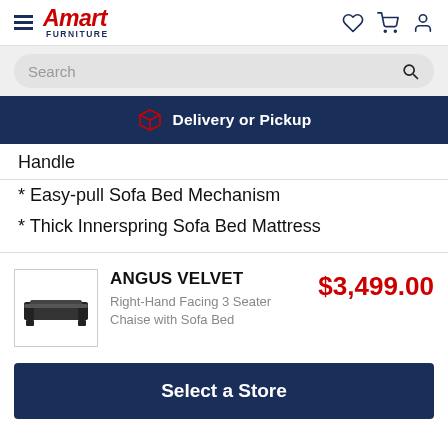Amart Furniture
Search
Delivery or Pickup
Handle
* Easy-pull Sofa Bed Mechanism
* Thick Innerspring Sofa Bed Mattress
ANGUS VELVET
Right-Hand Facing 3 Seater Chaise with Sofa Bed
$3,499.00
Select a Store